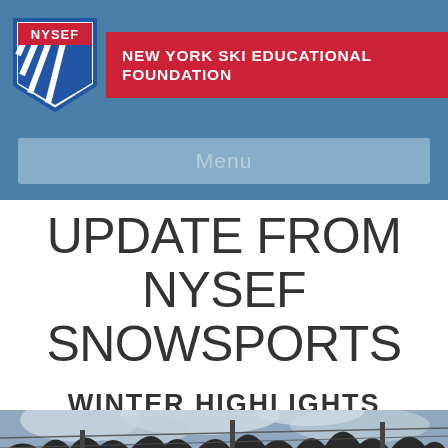NEW YORK SKI EDUCATIONAL FOUNDATION
Menu
UPDATE FROM NYSEF SNOWSPORTS
WINTER HIGHLIGHTS
[Figure (photo): Winter outdoor ski area scene with bare trees, ski lift cables, and overcast sky]